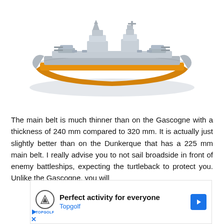[Figure (illustration): 3D render/illustration of a battleship (warship) viewed from the side, showing a gray hull with an orange/gold armor belt along the waterline. Two gun turrets and superstructure visible on top.]
The main belt is much thinner than on the Gascogne with a thickness of 240 mm compared to 320 mm. It is actually just slightly better than on the Dunkerque that has a 225 mm main belt. I really advise you to not sail broadside in front of enemy battleships, expecting the turtleback to protect you. Unlike the Gascogne, you will
[Figure (screenshot): Advertisement banner: Topgolf logo on left with shield emblem, bold text 'Perfect activity for everyone' with Topgolf brand name in blue below, and a blue navigation arrow icon on the right. Below the ad are two small control icons (play triangle and close X) in blue.]